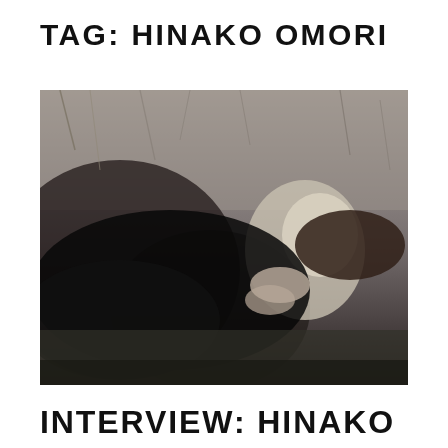TAG: HINAKO OMORI
[Figure (photo): Black and white photograph of a young woman lying on the ground in a black dress, surrounded by dry grass and fallen leaves, looking at the camera with a slight smile.]
INTERVIEW: HINAKO